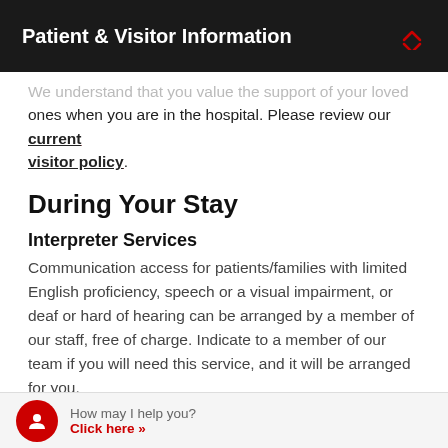Patient & Visitor Information
We understand that you value the support of your loved ones when you are in the hospital. Please review our current visitor policy.
During Your Stay
Interpreter Services
Communication access for patients/families with limited English proficiency, speech or a visual impairment, or deaf or hard of hearing can be arranged by a member of our staff, free of charge. Indicate to a member of our team if you will need this service, and it will be arranged for you.
Services for the Visually Impaired
How may I help you? Click here »